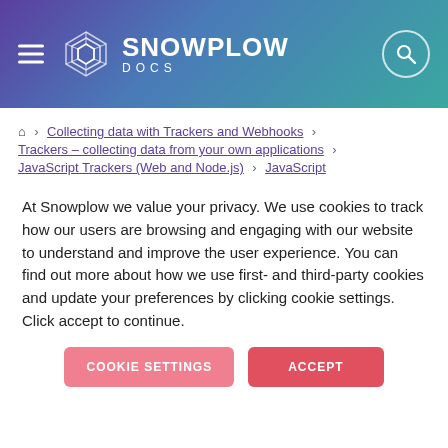SNOWPLOW DOCS
Home > Collecting data with Trackers and Webhooks > Trackers – collecting data from your own applications > JavaScript Trackers (Web and Node.js) > JavaScript
At Snowplow we value your privacy. We use cookies to track how our users are browsing and engaging with our website to understand and improve the user experience. You can find out more about how we use first- and third-party cookies and update your preferences by clicking cookie settings. Click accept to continue.